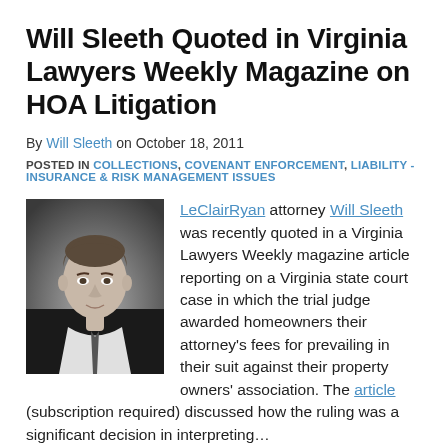Will Sleeth Quoted in Virginia Lawyers Weekly Magazine on HOA Litigation
By Will Sleeth on October 18, 2011
POSTED IN COLLECTIONS, COVENANT ENFORCEMENT, LIABILITY - INSURANCE & RISK MANAGEMENT ISSUES
[Figure (photo): Black and white headshot portrait of Will Sleeth, a young man in a suit and tie]
LeClairRyan attorney Will Sleeth was recently quoted in a Virginia Lawyers Weekly magazine article reporting on a Virginia state court case in which the trial judge awarded homeowners their attorney's fees for prevailing in their suit against their property owners' association. The article (subscription required) discussed how the ruling was a significant decision in interpreting…